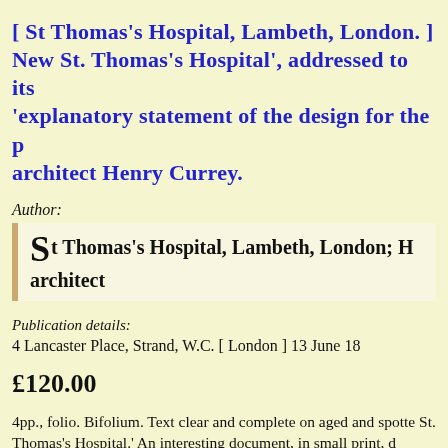[ St Thomas's Hospital, Lambeth, London. ] New St. Thomas's Hospital', addressed to its 'explanatory statement of the design for the p architect Henry Currey.
Author:
St Thomas's Hospital, Lambeth, London; H architect
Publication details:
4 Lancaster Place, Strand, W.C. [ London ] 13 June 18
£120.00
4pp., folio. Bifolium. Text clear and complete on aged and spotte St. Thomas's Hospital.' An interesting document, in small print, d behind the design of the design of the hospital, from 'Water Close 'Administration Block'.